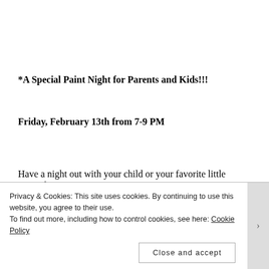*A Special Paint Night for Parents and Kids!!!
Friday, February 13th from 7-9 PM
Have a night out with your child or your favorite little person!
To find out more, including how to control cookies, see here:
Privacy & Cookies: This site uses cookies. By continuing to use this website, you agree to their use.
To find out more, including how to control cookies, see here: Cookie Policy
Close and accept